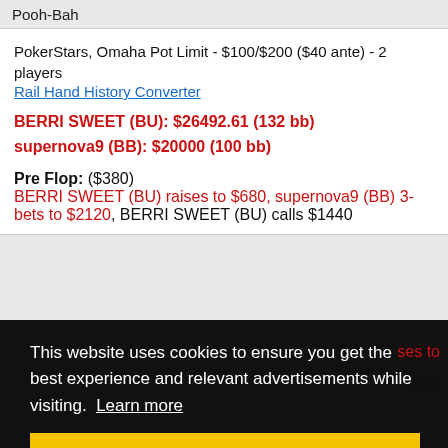Pooh-Bah
PokerStars, Omaha Pot Limit - $100/$200 ($40 ante) - 2 players
Rail Hand History Converter
BERRI SWEET (BU): $26492.61 (132 bb)
supernova9 (BB): $20000 (100 bb)
Pre Flop: ($380) BERRI SWEET (BU) raises to $680, supernova9 (BB) 3-bets to $2120, BERRI SWEET (BU) calls $1440
This website uses cookies to ensure you get the best experience and relevant advertisements while visiting. Learn more
Got it!
Second River: ($40000) 2♣ (2 players, 1 all-in)